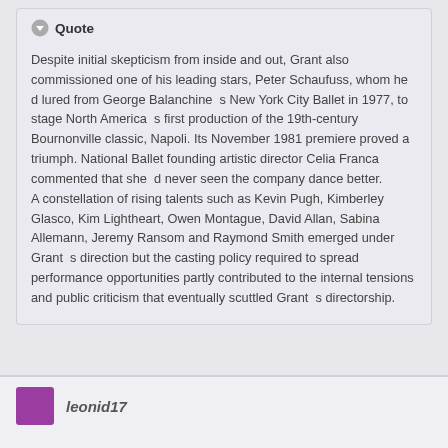Quote
Despite initial skepticism from inside and out, Grant also commissioned one of his leading stars, Peter Schaufuss, whom he’d lured from George Balanchine’s New York City Ballet in 1977, to stage North America’s first production of the 19th-century Bournonville classic, Napoli. Its November 1981 premiere proved a triumph. National Ballet founding artistic director Celia Franca commented that she’d never seen the company dance better.
A constellation of rising talents such as Kevin Pugh, Kimberley Glasco, Kim Lightheart, Owen Montague, David Allan, Sabina Allemann, Jeremy Ransom and Raymond Smith emerged under Grant’s direction but the casting policy required to spread performance opportunities partly contributed to the internal tensions and public criticism that eventually scuttled Grant’s directorship.
leonid17